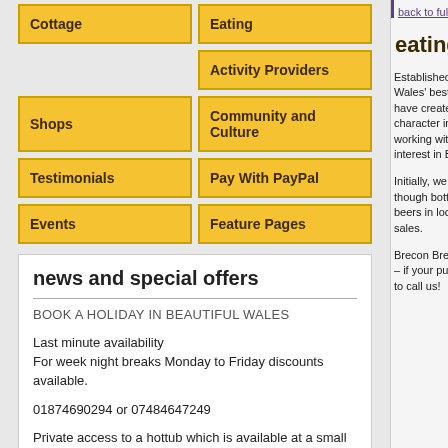Cottage
Eating
Activity Providers
Shops
Community and Culture
Testimonials
Pay With PayPal
Events
Feature Pages
news and special offers
BOOK A HOLIDAY IN BEAUTIFUL WALES
Last minute availability
For week night breaks Monday to Friday discounts available.
01874690294 or 07484647249
Private access to a hottub which is available at a small extra cost of £15 per night
A warm welcome to our Self Catering Holiday Accommodation at Sunnyside we guarantee that you
back to full li
eating r
Established in 2 Wales' best kno have created a character inspi working with th interest in Brec
Initially, we are though bottled beers in local p sales.
Brecon Brewing – if your pub is to call us!